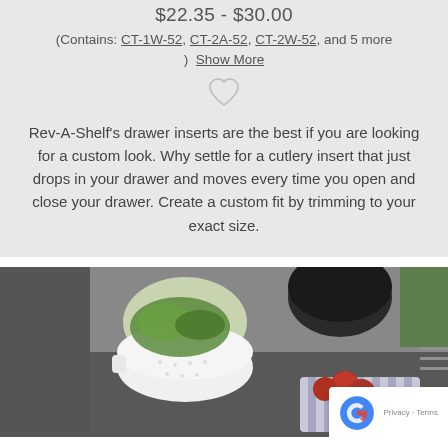$22.35 - $30.00
(Contains: CT-1W-52, CT-2A-52, CT-2W-52, and 5 more) Show More
[Figure (illustration): Heart/wishlist icon outline]
Rev-A-Shelf's drawer inserts are the best if you are looking for a custom look. Why settle for a cutlery insert that just drops in your drawer and moves every time you open and close your drawer. Create a custom fit by trimming to your exact size.
[Figure (photo): Kitchen countertop scene with a white colander with salad greens, cherry tomatoes on a striped cloth, and dark sink/cooktop surface in background]